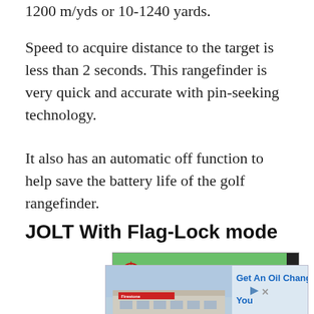1200 m/yds or 10-1240 yards.
Speed to acquire distance to the target is less than 2 seconds. This rangefinder is very quick and accurate with pin-seeking technology.
It also has an automatic off function to help save the battery life of the golf rangefinder.
JOLT With Flag-Lock mode
[Figure (screenshot): Advertisement banner for Bozily Golf Caddie Monocular with green background, target icon, red bold italic text 'Bozily Golf Caddie Monocular', subtitle 'Must-have for Professional Golfers', with a dark vertical bar on the right side.]
[Figure (screenshot): Advertisement for an oil change service showing a building (Firestone/Precision Auto) on the left and text 'Get An Oil Change N... You' in blue on the right, with close/navigate controls. Labeled 'Ad' below.]